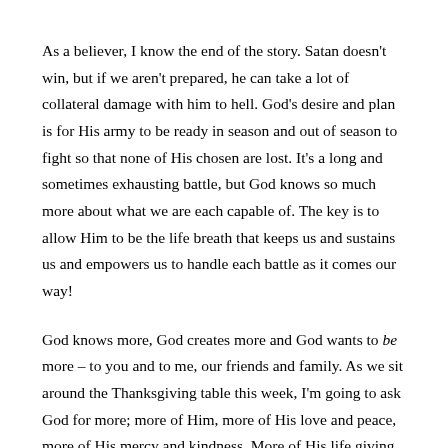As a believer, I know the end of the story. Satan doesn't win, but if we aren't prepared, he can take a lot of collateral damage with him to hell. God's desire and plan is for His army to be ready in season and out of season to fight so that none of His chosen are lost. It's a long and sometimes exhausting battle, but God knows so much more about what we are each capable of. The key is to allow Him to be the life breath that keeps us and sustains us and empowers us to handle each battle as it comes our way!
God knows more, God creates more and God wants to be more – to you and to me, our friends and family. As we sit around the Thanksgiving table this week, I'm going to ask God for more; more of Him, more of His love and peace, more of His mercy and kindness. More of His life giving...